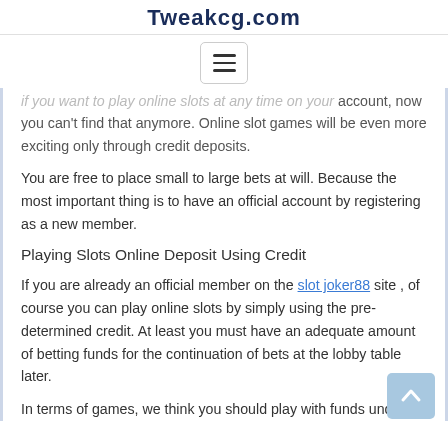Tweakcg.com
[Figure (other): Hamburger menu button icon with three horizontal lines]
account, now you can't find that anymore. Online slot games will be even more exciting only through credit deposits.
You are free to place small to large bets at will. Because the most important thing is to have an official account by registering as a new member.
Playing Slots Online Deposit Using Credit
If you are already an official member on the slot joker88 site , of course you can play online slots by simply using the pre-determined credit. At least you must have an adequate amount of betting funds for the continuation of bets at the lobby table later.
In terms of games, we think you should play with funds under